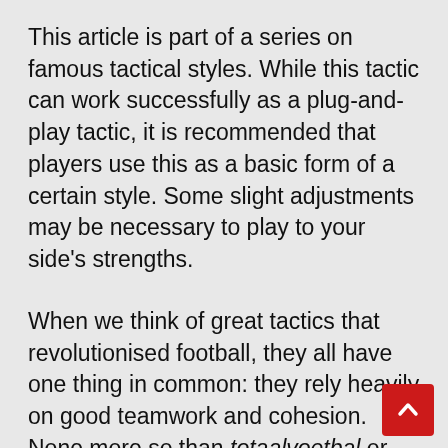This article is part of a series on famous tactical styles. While this tactic can work successfully as a plug-and-play tactic, it is recommended that players use this as a basic form of a certain style. Some slight adjustments may be necessary to play to your side's strengths.
When we think of great tactics that revolutionised football, they all have one thing in common: they rely heavily on good teamwork and cohesion. None more so than totaalvoetbal or Total Football. While the true roots of total football are disputed, the Ajax and Netherlands sides of the 70s captured the world's imagination with their relentless pressing and commitment to a team game that very nearly...